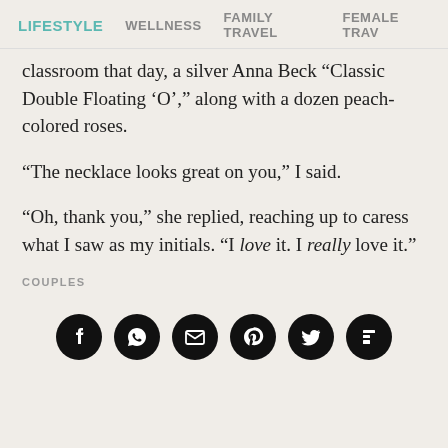LIFESTYLE  WELLNESS  FAMILY TRAVEL  FEMALE TRAV
classroom that day, a silver Anna Beck “Classic Double Floating ‘O’,” along with a dozen peach-colored roses.
“The necklace looks great on you,” I said.
“Oh, thank you,” she replied, reaching up to caress what I saw as my initials. “I love it. I really love it.”
COUPLES
[Figure (infographic): Row of six social media sharing icon circles (Facebook, WhatsApp, Email, Pinterest, Twitter, Flipboard) in black on beige background]